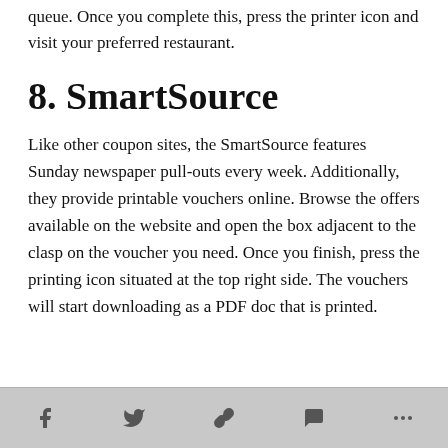queue. Once you complete this, press the printer icon and visit your preferred restaurant.
8. SmartSource
Like other coupon sites, the SmartSource features Sunday newspaper pull-outs every week. Additionally, they provide printable vouchers online. Browse the offers available on the website and open the box adjacent to the clasp on the voucher you need. Once you finish, press the printing icon situated at the top right side. The vouchers will start downloading as a PDF doc that is printed.
Social share icons: Facebook, Twitter, Link, Comment, More